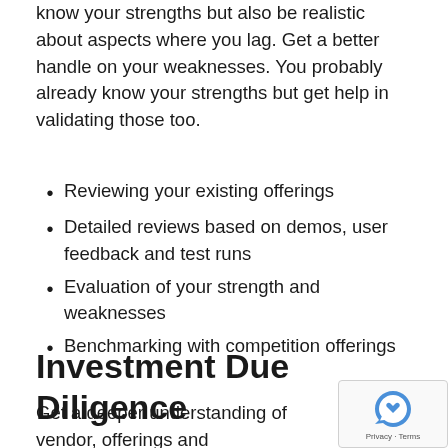know your strengths but also be realistic about aspects where you lag. Get a better handle on your weaknesses. You probably already know your strengths but get help in validating those too.
Reviewing your existing offerings
Detailed reviews based on demos, user feedback and test runs
Evaluation of your strength and weaknesses
Benchmarking with competition offerings
Investment Due Diligence
Get a deeper understanding of vendor, offerings and competitive landscape.